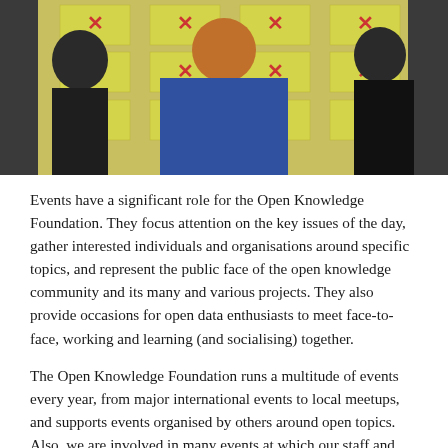[Figure (photo): Three people standing in front of a wall covered with yellow sticky notes with red X marks. The person in the center is wearing a colorful floral hijab.]
Events have a significant role for the Open Knowledge Foundation. They focus attention on the key issues of the day, gather interested individuals and organisations around specific topics, and represent the public face of the open knowledge community and its many and various projects. They also provide occasions for open data enthusiasts to meet face-to-face, working and learning (and socialising) together.
The Open Knowledge Foundation runs a multitude of events every year, from major international events to local meetups, and supports events organised by others around open topics. Also, we are involved in many events at which our staff and community speak on the Foundation's behalf.